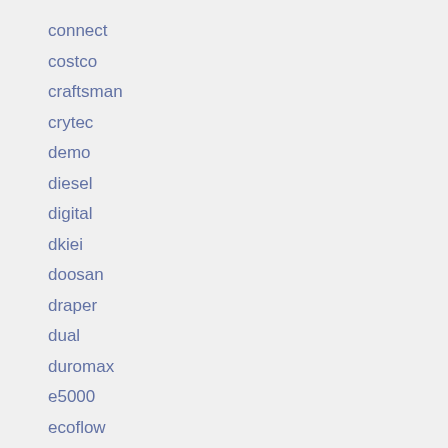connect
costco
craftsman
crytec
demo
diesel
digital
dkiei
doosan
draper
dual
duromax
e5000
ecoflow
electric
emergency
etrailer
evolution